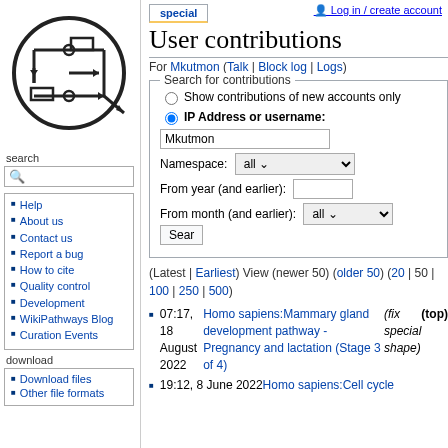Log in / create account
[Figure (logo): WikiPathways logo: circuit diagram style icon in a circle]
search
Help
About us
Contact us
Report a bug
How to cite
Quality control
Development
WikiPathways Blog
Curation Events
download
Download files
Other file formats
User contributions
For Mkutmon (Talk | Block log | Logs)
Search for contributions
Show contributions of new accounts only
IP Address or username: Mkutmon
Namespace: all
From year (and earlier):
From month (and earlier): all
(Latest | Earliest) View (newer 50) (older 50) (20 | 50 | 100 | 250 | 500)
07:17, 18 August 2022 Homo sapiens:Mammary gland development pathway - Pregnancy and lactation (Stage 3 of 4) (fix special shape) (top)
19:12, 8 June 2022 Homo sapiens:Cell cycle